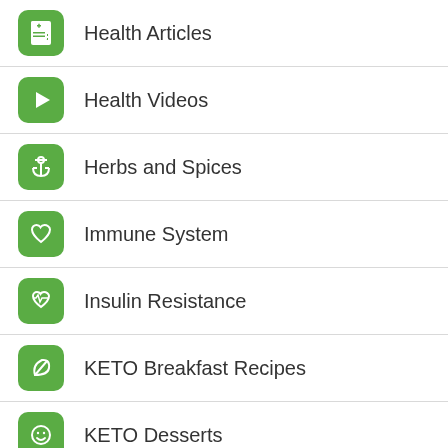Health Articles
Health Videos
Herbs and Spices
Immune System
Insulin Resistance
KETO Breakfast Recipes
KETO Desserts
KETO Main Dish Recipes